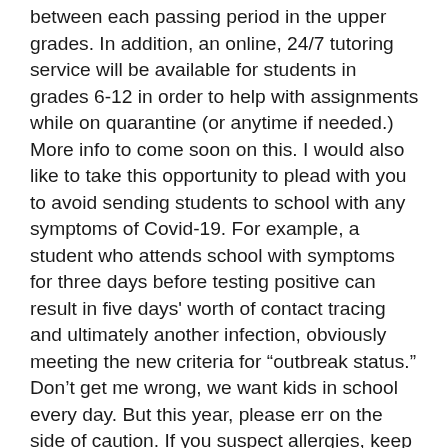between each passing period in the upper grades. In addition, an online, 24/7 tutoring service will be available for students in grades 6-12 in order to help with assignments while on quarantine (or anytime if needed.) More info to come soon on this. I would also like to take this opportunity to plead with you to avoid sending students to school with any symptoms of Covid-19. For example, a student who attends school with symptoms for three days before testing positive can result in five days' worth of contact tracing and ultimately another infection, obviously meeting the new criteria for “outbreak status.” Don’t get me wrong, we want kids in school every day. But this year, please err on the side of caution. If you suspect allergies, keep them home for a day to play it safe. We are also implementing weekly testing and a “test to stay” program with Shield but that will not be operational until September 13 at the earliest. Shield will also come to the district and test everyone (that has consented to the testing, of course) in the event of an outbreak. In the meantime, be aware that any of the following could be symptoms of Covid-19: -- Fever (100.4